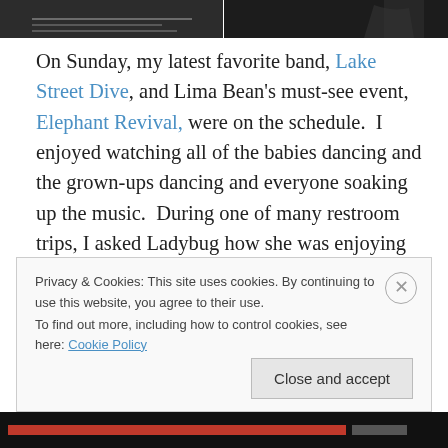[Figure (photo): Two photos side by side at the top of the page, partially cropped. Left photo shows what appears to be a music event or stage with dark tones. Right photo shows a darker image with minimal detail visible.]
On Sunday, my latest favorite band, Lake Street Dive, and Lima Bean's must-see event, Elephant Revival, were on the schedule.  I enjoyed watching all of the babies dancing and the grown-ups dancing and everyone soaking up the music.  During one of many restroom trips, I asked Ladybug how she was enjoying the show.  She said she really wasn't and went on to explain, “They are not saying one thing about reviving elephants!”  A woman in the adjoining stall burst out laughing.  I suppose it did feel like
Privacy & Cookies: This site uses cookies. By continuing to use this website, you agree to their use.
To find out more, including how to control cookies, see here: Cookie Policy